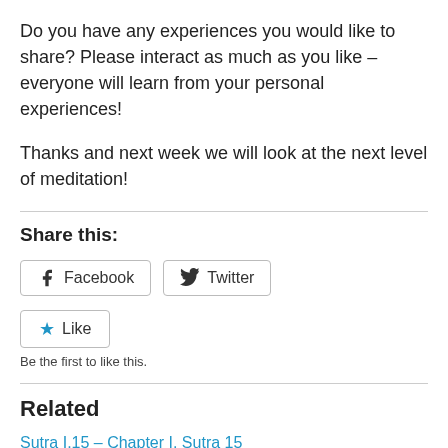Do you have any experiences you would like to share? Please interact as much as you like – everyone will learn from your personal experiences!
Thanks and next week we will look at the next level of meditation!
Share this:
[Figure (screenshot): Social sharing buttons: Facebook and Twitter buttons side by side, then a Like button below]
Be the first to like this.
Related
Sutra I.15 – Chapter I, Sutra 15